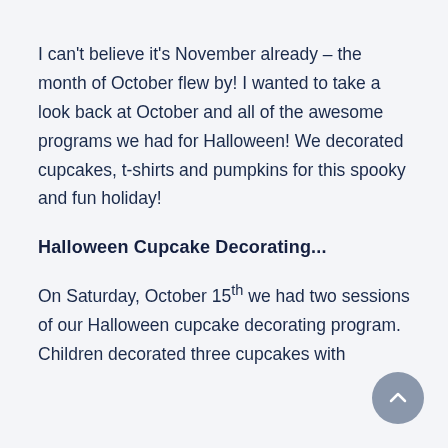I can't believe it's November already – the month of October flew by! I wanted to take a look back at October and all of the awesome programs we had for Halloween! We decorated cupcakes, t-shirts and pumpkins for this spooky and fun holiday!
Halloween Cupcake Decorating...
On Saturday, October 15th we had two sessions of our Halloween cupcake decorating program. Children decorated three cupcakes with